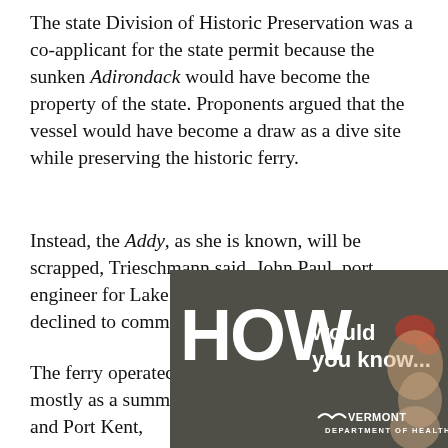The state Division of Historic Preservation was a co-applicant for the state permit because the sunken Adirondack would have become the property of the state. Proponents argued that the vessel would have become a draw as a dive site while preserving the historic ferry.
Instead, the Addy, as she is known, will be scrapped, Trieschmann said. John Paul, port engineer for Lake Champlain Transportation, declined to comment Tuesday.
The ferry operated for 65 years on the lake, mostly as a summer shuttle between Burlington and Port Kent, W...
[Figure (infographic): Advertisement for Vermont Department of Health with dark background, large white text reading 'HOW would you know...' and a photo of a baby/toddler on the right side. Vermont Department of Health logo in bottom right.]